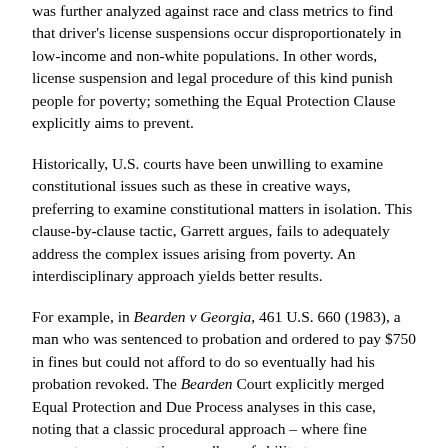was further analyzed against race and class metrics to find that driver's license suspensions occur disproportionately in low-income and non-white populations. In other words, license suspension and legal procedure of this kind punish people for poverty; something the Equal Protection Clause explicitly aims to prevent.
Historically, U.S. courts have been unwilling to examine constitutional issues such as these in creative ways, preferring to examine constitutional matters in isolation. This clause-by-clause tactic, Garrett argues, fails to adequately address the complex issues arising from poverty. An interdisciplinary approach yields better results.
For example, in Bearden v Georgia, 461 U.S. 660 (1983), a man who was sentenced to probation and ordered to pay $750 in fines but could not afford to do so eventually had his probation revoked. The Bearden Court explicitly merged Equal Protection and Due Process analyses in this case, noting that a classic procedural approach – where fine amounts are automatic regardless of ability to pay – was inherently unjust. Instead, the Court examined why the man could not pay and